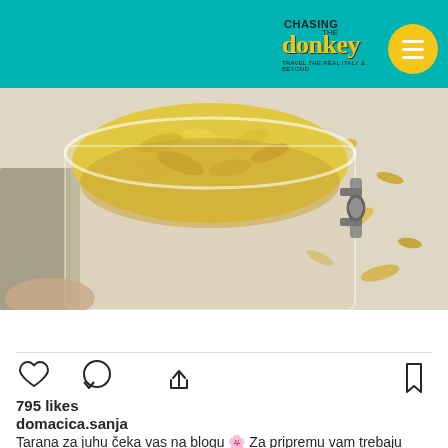[Figure (screenshot): Website header bar with teal background, Chasing the Donkey logo with yellow donkey text and bee illustration, and yellow circle hamburger menu icon]
[Figure (photo): Close-up photo of a glass jar filled with yellow dried pasta flakes (tarana), with more flakes scattered on a white wooden surface]
View more on Instagram
[Figure (infographic): Instagram action icons row: heart (like), comment bubble, share arrow on left; bookmark icon on right]
795 likes
domacica.sanja
Tarana za juhu čeka vas na blogu 🌸 Za pripremu vam trebaju